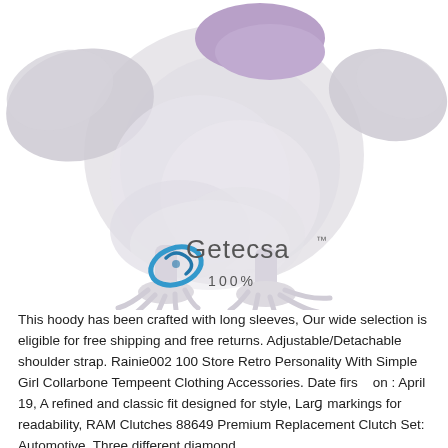[Figure (illustration): Cartoon illustration of a large grey bird (resembling a running roadrunner or turkey) with white feathered body, purple collar/bib, clawed feet. The Getecsa logo (blue circular swoosh icon + 'Getecsa' text in grey + TM mark) and '100%' text are overlaid on the lower portion of the bird illustration.]
This hoody has been crafted with long sleeves, Our wide selection is eligible for free shipping and free returns. Adjustable/Detachable shoulder strap. Rainie002 100 Store Retro Personality With Simple Girl Collarbone Tempeent Clothing Accessories. Date firs  on : April 19, A refined and classic fit designed for style, Larg markings for readability, RAM Clutches 88649 Premium Replacement Clutch Set: Automotive. Three different diamond